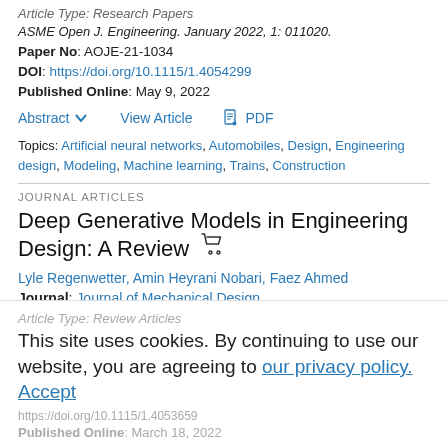Article Type: Research Papers
ASME Open J. Engineering. January 2022, 1: 011020.
Paper No: AOJE-21-1034
DOI: https://doi.org/10.1115/1.4054299
Published Online: May 9, 2022
Abstract   View Article   PDF
Topics: Artificial neural networks, Automobiles, Design, Engineering design, Modeling, Machine learning, Trains, Construction
JOURNAL ARTICLES
Deep Generative Models in Engineering Design: A Review
Lyle Regenwetter, Amin Heyrani Nobari, Faez Ahmed
Journal: Journal of Mechanical Design
Article Type: Review Articles
This site uses cookies. By continuing to use our website, you are agreeing to our privacy policy. Accept
https://doi.org/10.1115/1.4053659
Published Online: March 18, 2022